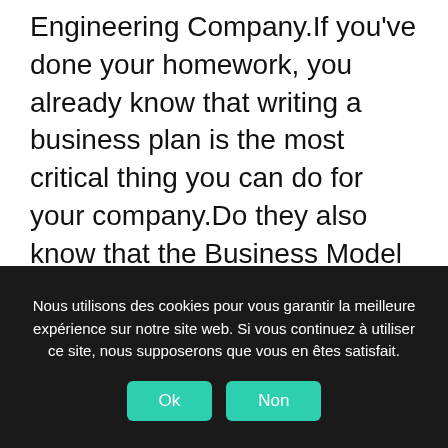Engineering Company.If you've done your homework, you already know that writing a business plan is the most critical thing you can do for your company.Do they also know that the Business Model is also an integral part of the business?Last modified by: Brianna da Silva Created Date: 9/21/2017 4:13:00 PM Other titles: Sample Business Plan - We Can Do It Consulting We Can Do It Consulting Executive Summary Product Customers Future of the Company Company Description Mission
Nous utilisons des cookies pour vous garantir la meilleure expérience sur notre site web. Si vous continuez à utiliser ce site, nous supposerons que vous en êtes satisfait.
Ok
Non